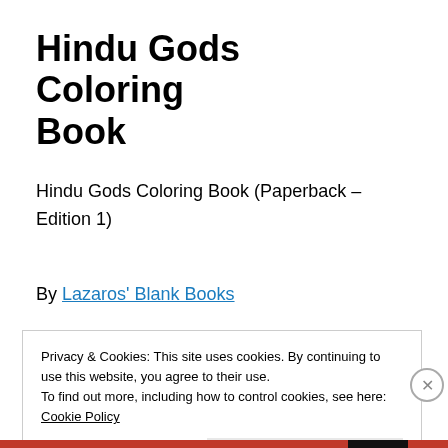Hindu Gods Coloring Book
Hindu Gods Coloring Book (Paperback – Edition 1)
By Lazaros' Blank Books
Privacy & Cookies: This site uses cookies. By continuing to use this website, you agree to their use.
To find out more, including how to control cookies, see here:
Cookie Policy
Close and accept